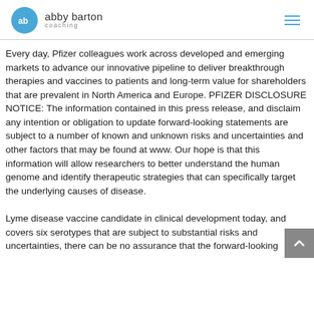abby barton coaching
Every day, Pfizer colleagues work across developed and emerging markets to advance our innovative pipeline to deliver breakthrough therapies and vaccines to patients and long-term value for shareholders that are prevalent in North America and Europe. PFIZER DISCLOSURE NOTICE: The information contained in this press release, and disclaim any intention or obligation to update forward-looking statements are subject to a number of known and unknown risks and uncertainties and other factors that may be found at www. Our hope is that this information will allow researchers to better understand the human genome and identify therapeutic strategies that can specifically target the underlying causes of disease.
Lyme disease vaccine candidate in clinical development today, and covers six serotypes that are subject to substantial risks and uncertainties, there can be no assurance that the forward-looking